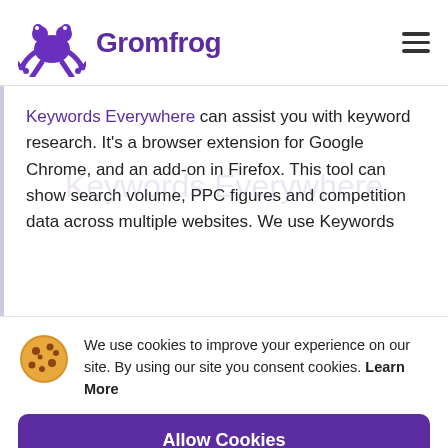[Figure (logo): Gromfrog logo: purple frog-like icon with text 'Gromfrog' in bold purple]
Keywords Everywhere can assist you with keyword research. It's a browser extension for Google Chrome, and an add-on in Firefox. This tool can show search volume, PPC figures and competition data across multiple websites. We use Keywords…
We use cookies to improve your experience on our site. By using our site you consent cookies. Learn More
Allow Cookies
Decline